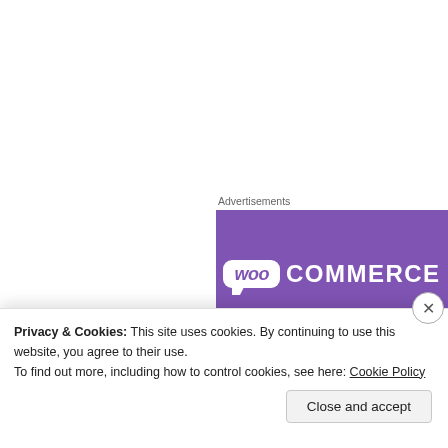[Figure (logo): WooCommerce advertisement banner with purple background and WooCommerce logo (woo bubble + COMMERCE text in white)]
Ուսումնաhրության ամբողջությամբ կարդալու
Հետաqnunnipjniun hpukunuqyep E ՌՀՔ Հայuuu քapnnnupapniupjun «Աcuylgniupjniu ՀԱ qnnðnnnjniûunnephi» ðnuqnh zncpuinuul
Privacy & Cookies: This site uses cookies. By continuing to use this website, you agree to their use.
To find out more, including how to control cookies, see here: Cookie Policy
Close and accept